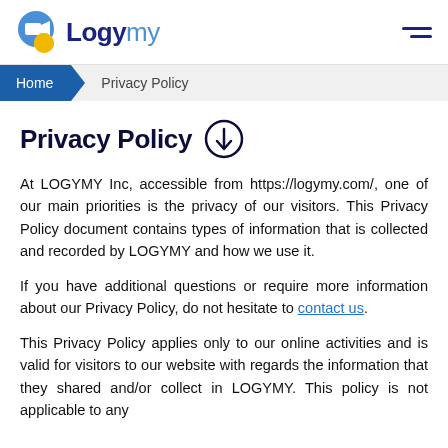Logymy — navigation header with logo and hamburger menu
Home > Privacy Policy
Privacy Policy
At LOGYMY Inc, accessible from https://logymy.com/, one of our main priorities is the privacy of our visitors. This Privacy Policy document contains types of information that is collected and recorded by LOGYMY and how we use it.
If you have additional questions or require more information about our Privacy Policy, do not hesitate to contact us.
This Privacy Policy applies only to our online activities and is valid for visitors to our website with regards the information that they shared and/or collect in LOGYMY. This policy is not applicable to any